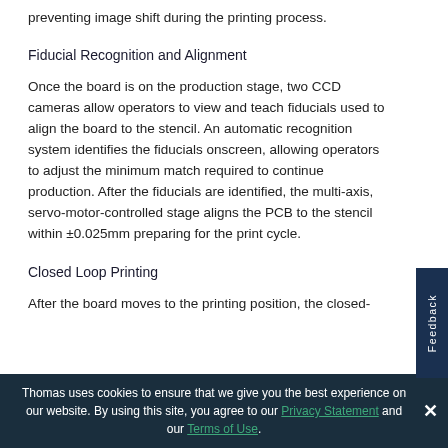preventing image shift during the printing process.
Fiducial Recognition and Alignment
Once the board is on the production stage, two CCD cameras allow operators to view and teach fiducials used to align the board to the stencil. An automatic recognition system identifies the fiducials onscreen, allowing operators to adjust the minimum match required to continue production. After the fiducials are identified, the multi-axis, servo-motor-controlled stage aligns the PCB to the stencil within ±0.025mm preparing for the print cycle.
Closed Loop Printing
After the board moves to the printing position, the closed-
Thomas uses cookies to ensure that we give you the best experience on our website. By using this site, you agree to our Privacy Statement and our Terms of Use.